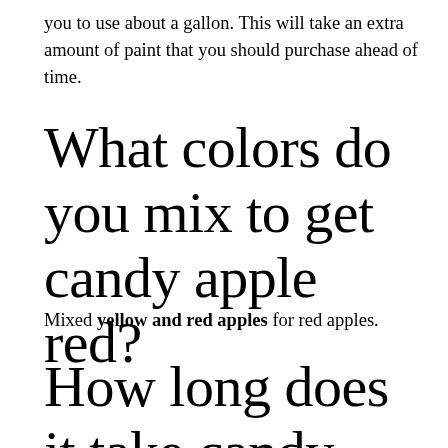you to use about a gallon. This will take an extra amount of paint that you should purchase ahead of time.
What colors do you mix to get candy apple red?
Mixed yellow and red apples for red apples.
How long does it take candy apples to dry?